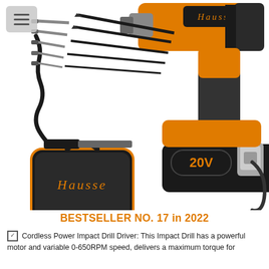[Figure (photo): Hausse branded 20V cordless power impact drill driver shown with its accessories: a flexible extension shaft, multiple drill bits and screwdriver bits of various sizes, and a black carrying case with orange trim labeled 'Hausse'. The drill is orange and black with a 20V lithium battery pack attached.]
BESTSELLER NO. 17 in 2022
Cordless Power Impact Drill Driver: This Impact Drill has a powerful motor and variable 0-650RPM speed, delivers a maximum torque for